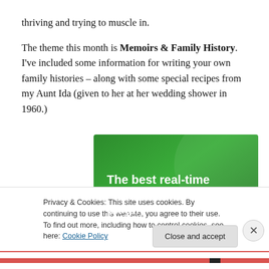thriving and trying to muscle in.
The theme this month is Memoirs & Family History. I've included some information for writing your own family histories – along with some special recipes from my Aunt Ida (given to her at her wedding shower in 1960.)
[Figure (other): Green advertisement banner reading 'The best real-time WordPress backup plugin']
Privacy & Cookies: This site uses cookies. By continuing to use this website, you agree to their use.
To find out more, including how to control cookies, see here: Cookie Policy